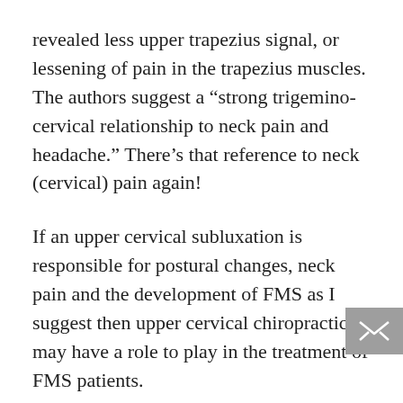revealed less upper trapezius signal, or lessening of pain in the trapezius muscles. The authors suggest a “strong trigemino-cervical relationship to neck pain and headache.” There’s that reference to neck (cervical) pain again!
If an upper cervical subluxation is responsible for postural changes, neck pain and the development of FMS as I suggest then upper cervical chiropractic may have a role to play in the treatment of FMS patients.
Like conventional treatment studies however there haven’t been a lot of studies which